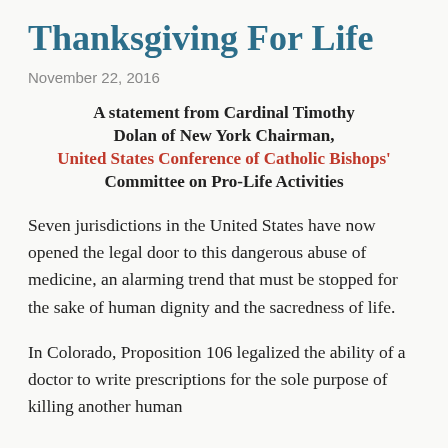Thanksgiving For Life
November 22, 2016
A statement from Cardinal Timothy Dolan of New York Chairman, United States Conference of Catholic Bishops' Committee on Pro-Life Activities
Seven jurisdictions in the United States have now opened the legal door to this dangerous abuse of medicine, an alarming trend that must be stopped for the sake of human dignity and the sacredness of life.
In Colorado, Proposition 106 legalized the ability of a doctor to write prescriptions for the sole purpose of killing another human